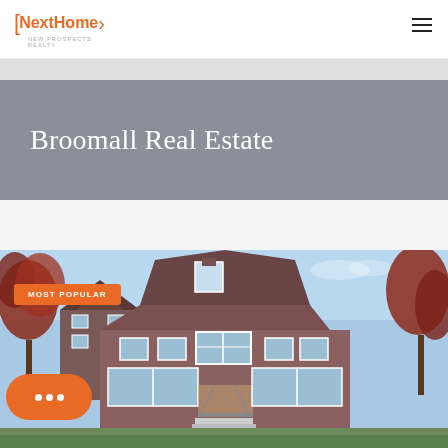[Figure (logo): NextHome New Prospects Realty logo with orange brackets and arrow]
[Figure (other): Hamburger menu icon (three horizontal lines)]
Broomall Real Estate
[Figure (photo): Exterior photo of a large multi-story house with gambrel roof, brown shingle siding, large windows, and trees with red foliage. Has MOST POPULAR badge and chat bubble widget.]